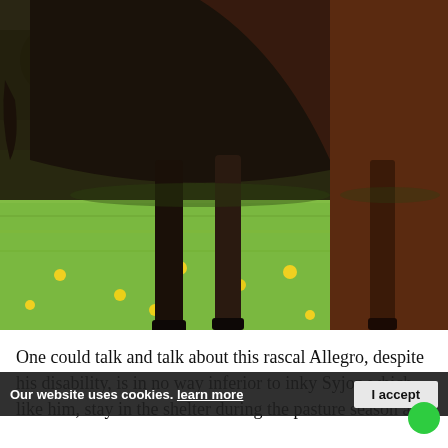[Figure (photo): Close-up photograph of a dark bay horse's legs and lower body standing in a green pasture with yellow dandelion flowers. Another horse is partially visible on the right. Trees and a wooden fence are visible in the background.]
One could talk and talk about this rascal Allegro, despite his disability, is in no way inferior to inky Syjon which, like him, stay in the shelter during the pasture season and
Our website uses cookies. learn more
I accept